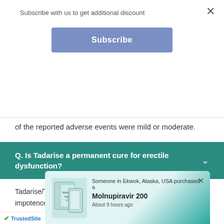Subscribe with us to get additional discount
Subscribe
of the reported adverse events were mild or moderate.
Q. Is Tadarise a permanent cure for erectile dysfunction?
Tadarise/Tadalafil is an FDA-approved medication for male impotence disease that is effective in treating erectile dysfunction. If you use tadalafil to treat erectile dysfunction, you should be aware that it does not cure it or in... w to the...
Someone in Ekwok, Alaska, USA purchased a Molnupiravir 200 About 9 hours ago
TrustedSite
adalafil good for the heart?